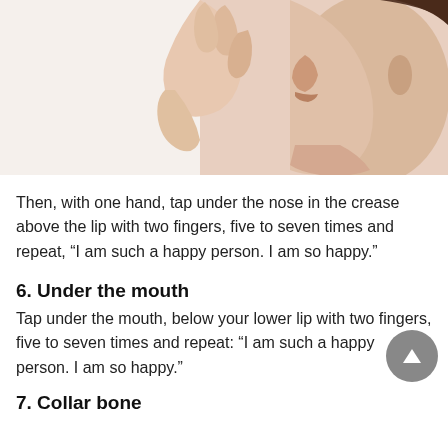[Figure (photo): Side profile of a person touching fingers to their nose/upper lip area, demonstrating a tapping technique. White background, cropped to show hand and face from nose to chin.]
Then, with one hand, tap under the nose in the crease above the lip with two fingers, five to seven times and repeat, “I am such a happy person. I am so happy.”
6. Under the mouth
Tap under the mouth, below your lower lip with two fingers, five to seven times and repeat: “I am such a happy person. I am so happy.”
7. Collar bone